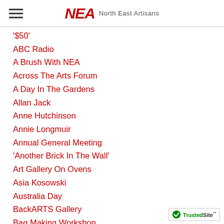NEA North East Artisans
'$50'
ABC Radio
A Brush With NEA
Across The Arts Forum
A Day In The Gardens
Allan Jack
Anne Hutchinson
Annie Longmuir
Annual General Meeting
'Another Brick In The Wall'
Art Gallery On Ovens
Asia Kosowski
Australia Day
BackARTS Gallery
Bag Making Workshop
Bainz Gallery
Benalla Art Gallery
Benalla Graduation Winners